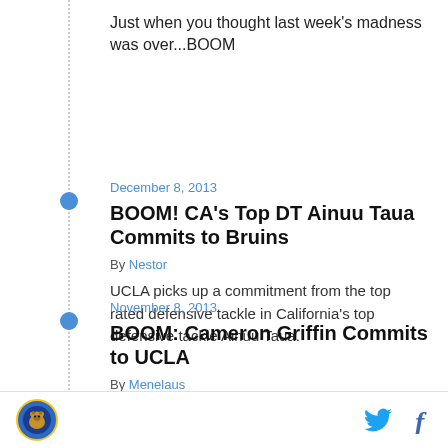Just when you thought last week's madness was over...BOOM
December 8, 2013
BOOM! CA's Top DT Ainuu Taua Commits to Bruins
By Nestor
UCLA picks up a commitment from the top rated defensive tackle in California's top defensive tackle Ainuu Taua.
November 8, 2013
BOOM: Cameron Griffin Commits to UCLA
By Menelaus